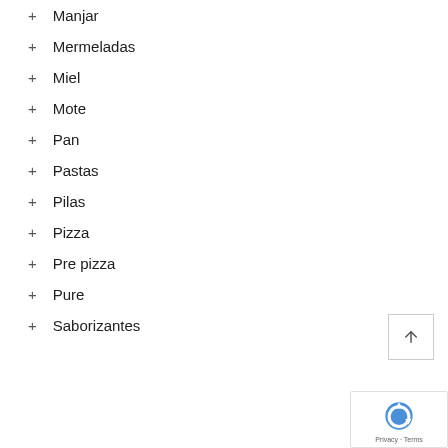+ Manjar
+ Mermeladas
+ Miel
+ Mote
+ Pan
+ Pastas
+ Pilas
+ Pizza
+ Pre pizza
+ Pure
+ Saborizantes